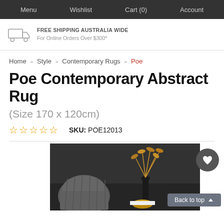Menu  Wishlist  Cart (0)  Account
FREE SHIPPING AUSTRALIA WIDE
For Online Orders Over $300*
Home » Style » Contemporary Rugs » Poe
Poe Contemporary Abstract Rug
(Size 170 x 120cm)
☆☆☆☆☆  SKU: POE12013
[Figure (photo): Dark background product lifestyle photo showing a contemporary abstract rug scene with a grey velvet chair and a gold vase with dried botanicals]
Back to top